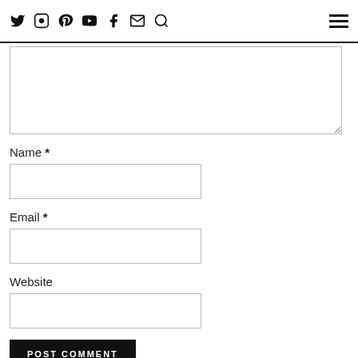Social icons and navigation menu
[Figure (other): Textarea / comment input box (partially visible, resizable)]
Name *
[Figure (other): Name text input field]
Email *
[Figure (other): Email text input field]
Website
[Figure (other): Website text input field]
POST COMMENT